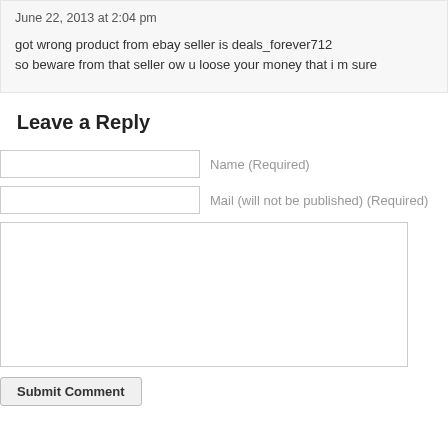June 22, 2013 at 2:04 pm
got wrong product from ebay seller is deals_forever712
so beware from that seller ow u loose your money that i m sure
Leave a Reply
Name (Required)
Mail (will not be published) (Required)
Submit Comment